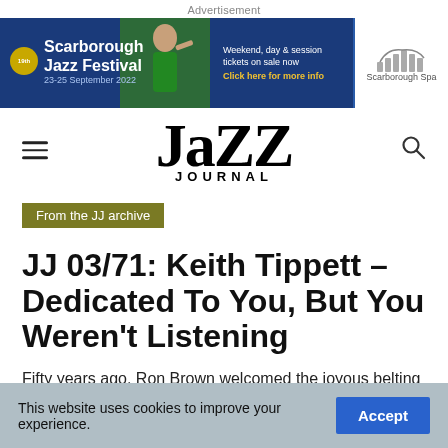Advertisement
[Figure (screenshot): Scarborough Jazz Festival advertisement banner. Blue background with gold badge showing '19th', text: Scarborough Jazz Festival 23-25 September 2022. Weekend, day & session tickets on sale now. Click here for more info. Scarborough Spa logo at right. Musician photo in centre.]
[Figure (logo): Jazz Journal logo — large bold serif 'JaZZ' with 'JOURNAL' in small caps underneath. Hamburger menu icon on left, search icon on right.]
From the JJ archive
JJ 03/71: Keith Tippett – Dedicated To You, But You Weren't Listening
Fifty years ago, Ron Brown welcomed the joyous belting of Tippett's talented troupe. First published in Jazz Journal
This website uses cookies to improve your experience.